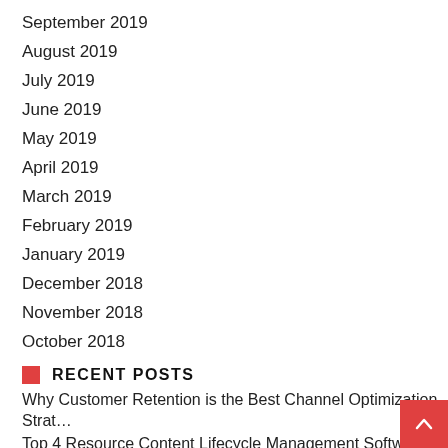September 2019
August 2019
July 2019
June 2019
May 2019
April 2019
March 2019
February 2019
January 2019
December 2018
November 2018
October 2018
RECENT POSTS
Why Customer Retention is the Best Channel Optimization Strat…
Top 4 Resource Content Lifecycle Management Software for B…